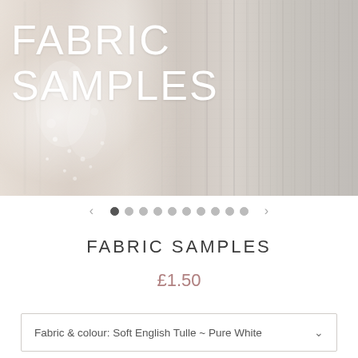[Figure (photo): Hero image showing wedding/bridal fabric samples — lace and tulle fabrics in soft white/cream tones with 'FABRIC SAMPLES' text overlay]
FABRIC SAMPLES
£1.50
Fabric & colour: Soft English Tulle ~ Pure White